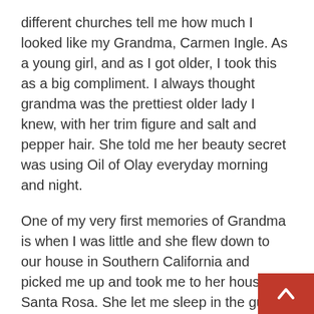different churches tell me how much I looked like my Grandma, Carmen Ingle. As a young girl, and as I got older, I took this as a big compliment. I always thought grandma was the prettiest older lady I knew, with her trim figure and salt and pepper hair. She told me her beauty secret was using Oil of Olay everyday morning and night.
One of my very first memories of Grandma is when I was little and she flew down to our house in Southern California and picked me up and took me to her house in Santa Rosa. She let me sleep in the guest bedroom with the big bed. Every morning she would come and wake me up by saying, “Wake up, Snow White!” She also introduced me to her slides of the family! To this day, I love going through the slides and hearing the stories from long ago.
She made us grandkids Mickey Mouse pancakes, built a fort under her kitchen table with I think every bla